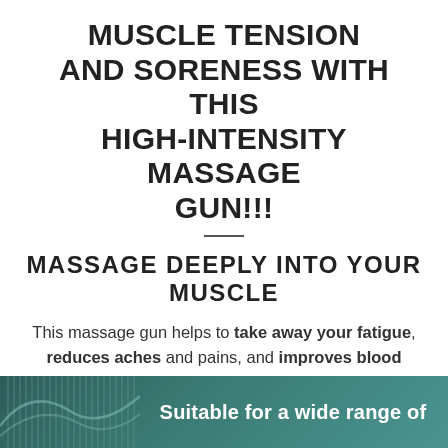MUSCLE TENSION AND SORENESS WITH THIS HIGH-INTENSITY MASSAGE GUN!!!
MASSAGE DEEPLY INTO YOUR MUSCLE
This massage gun helps to take away your fatigue, reduces aches and pains, and improves blood circulation.
[Figure (infographic): Dark teal/green banner with vertical line pattern on the left side and white text reading 'Suitable for a wide range of']